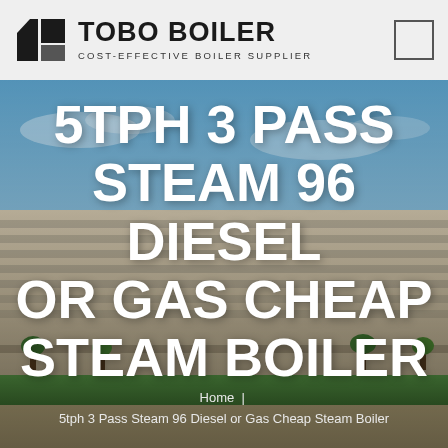[Figure (logo): TOBO BOILER logo with geometric black triangle/square icon and text 'TOBO BOILER' in bold, subtitle 'COST-EFFECTIVE BOILER SUPPLIER']
[Figure (photo): Aerial/wide-angle photograph of a large industrial or commercial building complex under blue sky, used as hero background image]
5TPH 3 PASS STEAM 96 DIESEL OR GAS CHEAP STEAM BOILER
Home | 5tph 3 Pass Steam 96 Diesel or Gas Cheap Steam Boiler